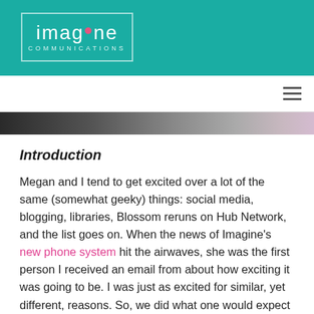[Figure (logo): Imagine Communications logo in white on teal background, with border rectangle and dot above letter i, subtitle COMMUNICATIONS in spaced caps]
[Figure (photo): Hamburger menu icon (three horizontal lines) on white navigation bar]
[Figure (photo): Partial photo strip showing dark to light gradient, appears to be a cropped image header]
Introduction
Megan and I tend to get excited over a lot of the same (somewhat geeky) things: social media, blogging, libraries, Blossom reruns on Hub Network, and the list goes on. When the news of Imagine’s new phone system hit the airwaves, she was the first person I received an email from about how exciting it was going to be. I was just as excited for similar, yet different, reasons. So, we did what one would expect